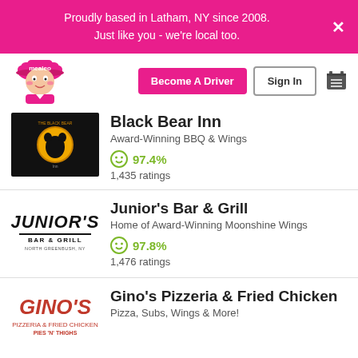Proudly based in Latham, NY since 2008.
Just like you - we're local too.
[Figure (screenshot): Mealeo delivery service website screenshot showing navigation bar with logo, Become A Driver button, Sign In button, and shopping cart icon]
Black Bear Inn
Award-Winning BBQ & Wings
97.4%
1,435 ratings
Junior's Bar & Grill
Home of Award-Winning Moonshine Wings
97.8%
1,476 ratings
Gino's Pizzeria & Fried Chicken
Pizza, Subs, Wings & More!